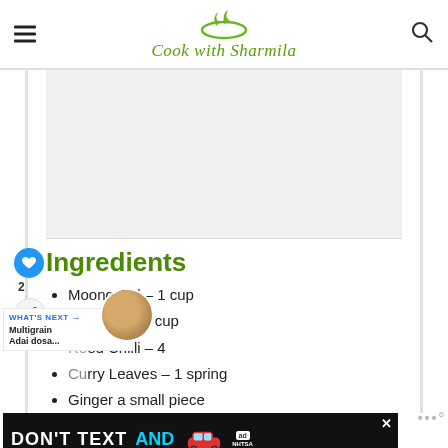Cook with Sharmila
[Figure (photo): Recipe food image placeholder (grey box)]
Ingredients
Moong Dal – 1 cup
Idli Rice – ¼ cup
Red Chilli – 4
Curry Leaves – 1 spring
Ginger a small piece
[Figure (photo): Ad banner: DON'T TEXT AND drive safety ad with NHTSA logo and car image]